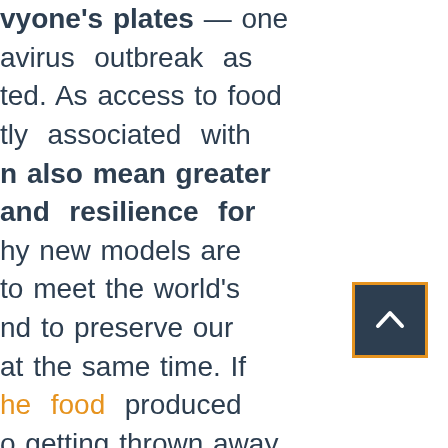vyone's plates — one avirus outbreak as ted. As access to food tly associated with n also mean greater and resilience for hy new models are to meet the world's nd to preserve our at the same time. If he food produced o getting thrown away n all agree that the solution would be to od in the first place. products can also shortages and waste, nal borders do not
[Figure (other): A scroll-to-top button: dark navy square with an orange border and a white upward chevron arrow in the center.]